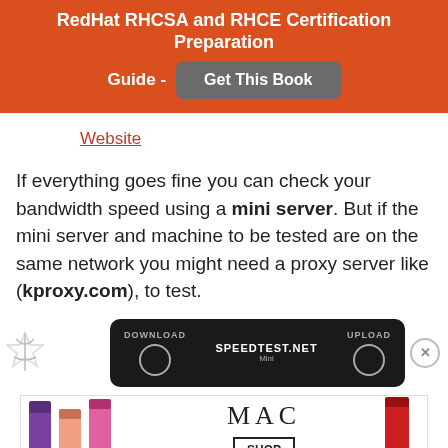RedHat RHCSA and RHCE Certification Preparation Guide - Get This Book
Website
If everything goes fine you can check your bandwidth speed using a mini server. But if the mini server and machine to be tested are on the same network you might need a proxy server like (kproxy.com), to test.
[Figure (screenshot): Speedtest.net mini server interface showing DOWNLOAD and UPLOAD labels on dark background]
[Figure (photo): MAC cosmetics advertisement showing lipsticks with SHOP NOW button]